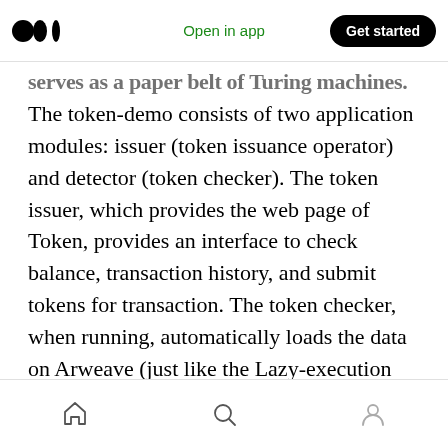Open in app | Get started
serves as a paper belt of Turing machines. The token-demo consists of two application modules: issuer (token issuance operator) and detector (token checker). The token issuer, which provides the web page of Token, provides an interface to check balance, transaction history, and submit tokens for transaction. The token checker, when running, automatically loads the data on Arweave (just like the Lazy-execution we described in the Smartweave section) and provides an interface to query token transactions.
Home | Search | Profile